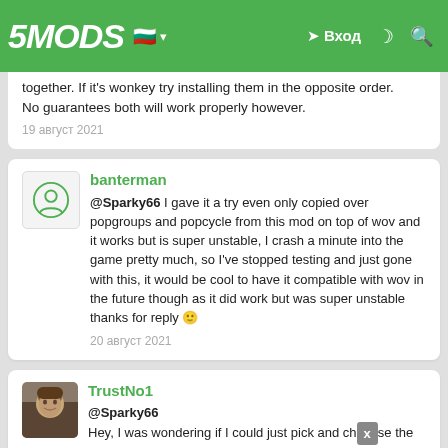5MODS | Вход
together. If it's wonkey try installing them in the opposite order.
No guarantees both will work properly however.
19 август 2021
banterman
@Sparky66 I gave it a try even only copied over popgroups and popcycle from this mod on top of wov and it works but is super unstable, I crash a minute into the game pretty much, so I've stopped testing and just gone with this, it would be cool to have it compatible with wov in the future though as it did work but was super unstable thanks for reply 🙂
20 август 2021
TrustNo1
@Sparky66
Hey, I was wondering if I could just pick and choose the certain carvariations.ymt files so I can have more color variety on vehicles in my game? I have my own custom popgroups and vehiclemodelsets files already.